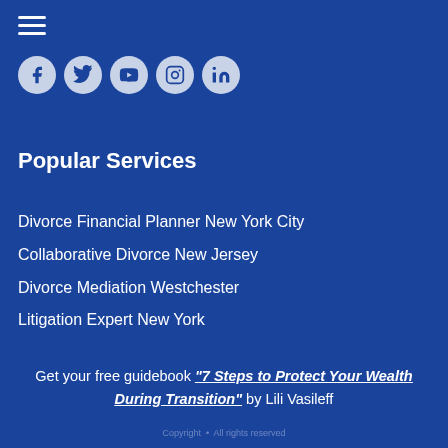[Figure (other): Hamburger menu icon (three horizontal white lines)]
[Figure (other): Row of social media icons: Facebook, Twitter, YouTube, Instagram, LinkedIn — circular light blue buttons with dark blue icons]
Popular Services
Divorce Financial Planner New York City
Collaborative Divorce New Jersey
Divorce Mediation Westchester
Litigation Expert New York
Get your free guidebook "7 Steps to Protect Your Wealth During Transition" by Lili Vasileff
Copyright … All rights reserved